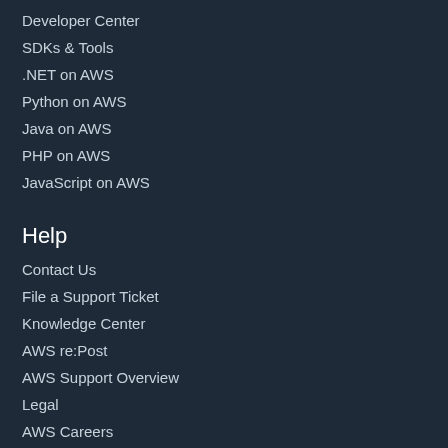Developer Center
SDKs & Tools
.NET on AWS
Python on AWS
Java on AWS
PHP on AWS
JavaScript on AWS
Help
Contact Us
File a Support Ticket
Knowledge Center
AWS re:Post
AWS Support Overview
Legal
AWS Careers